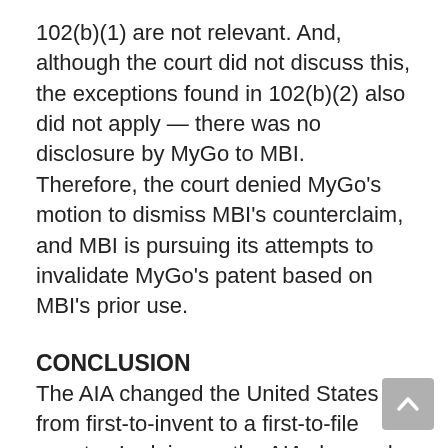102(b)(1) are not relevant. And, although the court did not discuss this, the exceptions found in 102(b)(2) also did not apply — there was no disclosure by MyGo to MBI. Therefore, the court denied MyGo's motion to dismiss MBI's counterclaim, and MBI is pursuing its attempts to invalidate MyGo's patent based on MBI's prior use.
CONCLUSION
The AIA changed the United States from first-to-invent to a first-to-file country. In doing so the AIA changed the rules regarding when a public disclosure, use, or sale may bar a patent